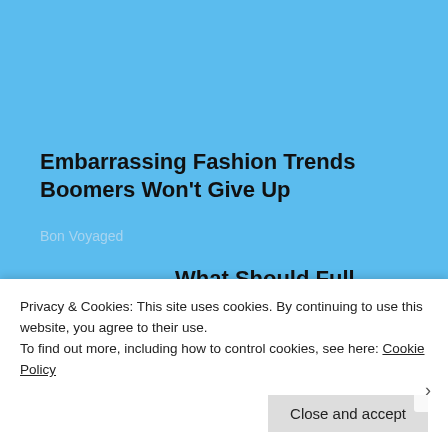Embarrassing Fashion Trends Boomers Won't Give Up
Bon Voyaged
What Should Full Mouth Dental Implants Cost You in 2022?
Dental Implants | Search Ads
Privacy & Cookies: This site uses cookies. By continuing to use this website, you agree to their use.
To find out more, including how to control cookies, see here: Cookie Policy
Close and accept